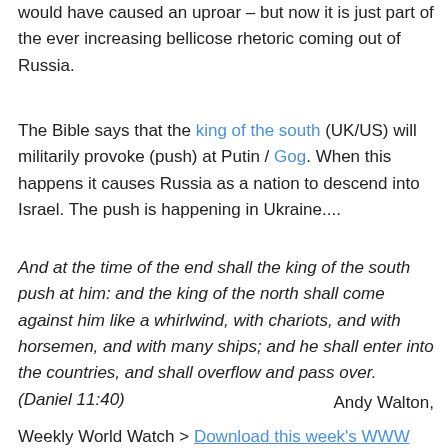would have caused an uproar – but now it is just part of the ever increasing bellicose rhetoric coming out of Russia.
The Bible says that the king of the south (UK/US) will militarily provoke (push) at Putin / Gog. When this happens it causes Russia as a nation to descend into Israel. The push is happening in Ukraine....
And at the time of the end shall the king of the south push at him: and the king of the north shall come against him like a whirlwind, with chariots, and with horsemen, and with many ships; and he shall enter into the countries, and shall overflow and pass over. (Daniel 11:40)
Andy Walton,
Weekly World Watch > Download this week's WWW